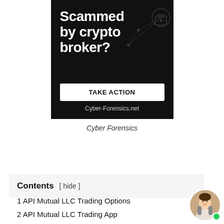[Figure (advertisement): Dark background advertisement with bold white text reading 'Scammed by crypto broker?', a white 'TAKE ACTION' button, and 'Cyber-Forensics.net' URL at bottom. Lock icon network graphic in background.]
Cyber Forensics
Contents [ hide ]
1 API Mutual LLC Trading Options
2 API Mutual LLC Trading App